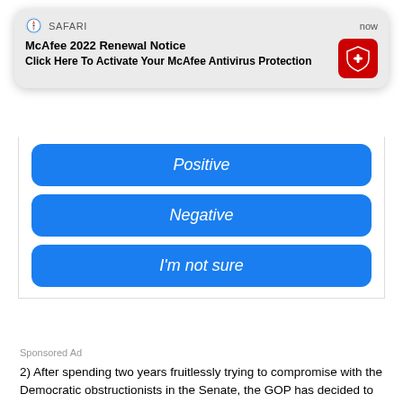[Figure (screenshot): Safari browser push notification popup showing 'McAfee 2022 Renewal Notice' with text 'Click Here To Activate Your McAfee Antivirus Protection' and a red McAfee shield icon. Timestamp shows 'now'.]
Positive
Negative
I'm not sure
Sponsored Ad
2) After spending two years fruitlessly trying to compromise with the Democratic obstructionists in the Senate, the GOP has decided to make a stand and stop allowing the Democrats to run roughshod over Senate tradition and the Constitution.
3) When the Democrats are prevented from blocking the